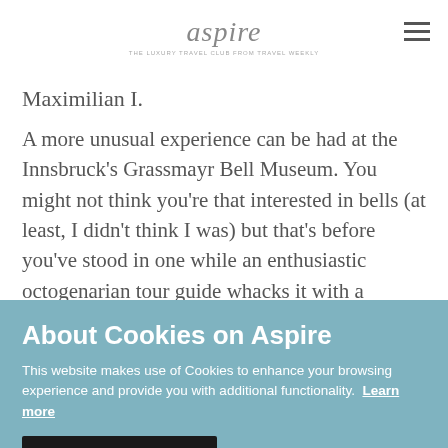aspire — THE LUXURY TRAVEL CLUB FROM TRAVEL WEEKLY
Maximilian I.
A more unusual experience can be had at the Innsbruck's Grassmayr Bell Museum. You might not think you're that interested in bells (at least, I didn't think I was) but that's before you've stood in one while an enthusiastic octogenarian tour guide whacks it with a massive hammer.
About Cookies on Aspire
This website makes use of Cookies to enhance your browsing experience and provide you with additional functionality.  Learn more
Accept and close